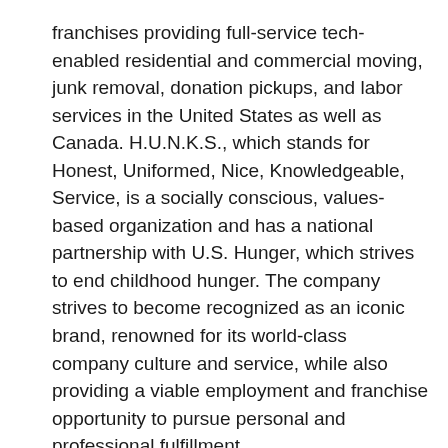franchises providing full-service tech-enabled residential and commercial moving, junk removal, donation pickups, and labor services in the United States as well as Canada. H.U.N.K.S., which stands for Honest, Uniformed, Nice, Knowledgeable, Service, is a socially conscious, values-based organization and has a national partnership with U.S. Hunger, which strives to end childhood hunger. The company strives to become recognized as an iconic brand, renowned for its world-class company culture and service, while also providing a viable employment and franchise opportunity to pursue personal and professional fulfillment.
In January 2022, College HUNKS was featured in the Season 11 premiere of the CBS series UNDERCOVER BOSS. Co-founders Nick Friedman and Omar Soliman both went undercover to examine their company's operations and this marked